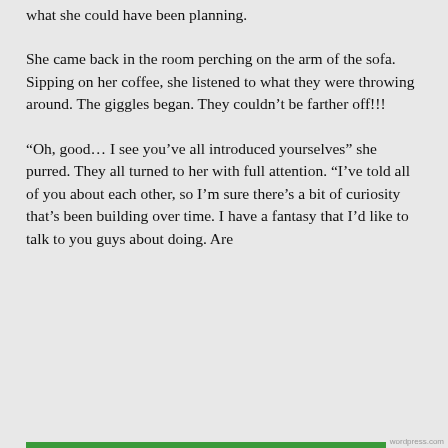what she could have been planning.
She came back in the room perching on the arm of the sofa. Sipping on her coffee, she listened to what they were throwing around. The giggles began. They couldn’t be farther off!!!
“Oh, good… I see you’ve all introduced yourselves” she purred. They all turned to her with full attention. “I’ve told all of you about each other, so I’m sure there’s a bit of curiosity that’s been building over time. I have a fantasy that I’d like to talk to you guys about doing. Are
Privacy & Cookies: This site uses cookies. By continuing to use this website, you agree to their use.
To find out more, including how to control cookies, see here: Cookie Policy
Close and accept